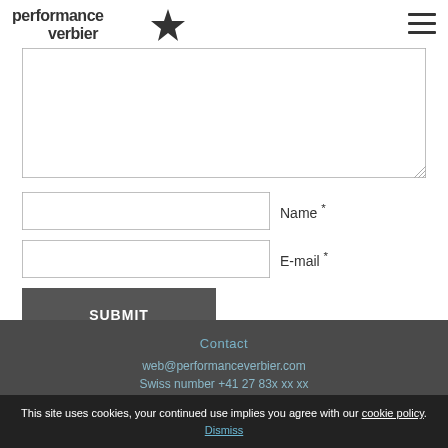[Figure (logo): Performance Verbier logo with star icon]
[Figure (illustration): Hamburger menu icon (three horizontal lines)]
[Figure (screenshot): Large textarea form field for message input]
Name *
E-mail *
SUBMIT
Contact
web@performanceverbier.com
Swiss number +41 27 83x xx xx
This site uses cookies, your continued use implies you agree with our cookie policy. Dismiss